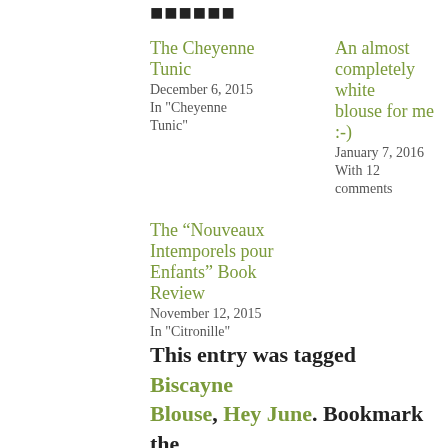Related
The Cheyenne Tunic
December 6, 2015
In "Cheyenne Tunic"
An almost completely white blouse for me :-)
January 7, 2016
With 12 comments
The “Nouveaux Intemporels pour Enfants” Book Review
November 12, 2015
In "Citronille"
This entry was tagged Biscayne Blouse, Hey June. Bookmark the permalink.